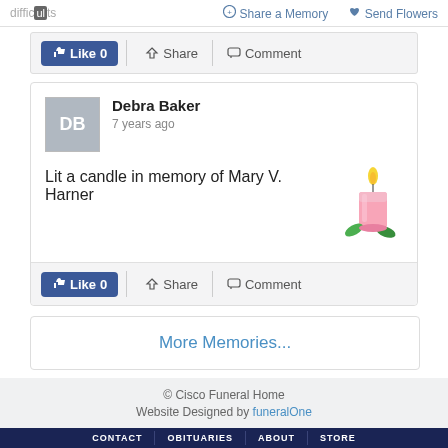difficult  Share a Memory   Send Flowers
Like 0  Share  Comment
Debra Baker
7 years ago
Lit a candle in memory of Mary V. Harner
Like 0  Share  Comment
More Memories...
© Cisco Funeral Home
Website Designed by funeralOne
CONTACT  OBITUARIES  ABOUT  STORE